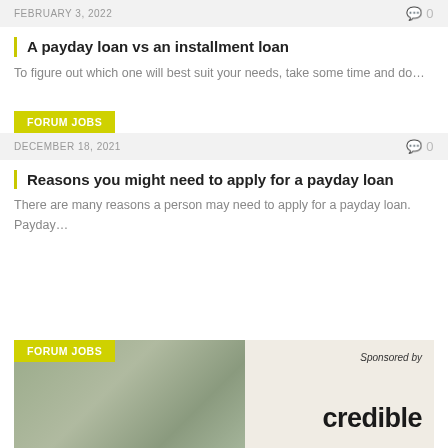FEBRUARY 3, 2022    0
A payday loan vs an installment loan
To figure out which one will best suit your needs, take some time and do…
FORUM JOBS
DECEMBER 18, 2021    0
Reasons you might need to apply for a payday loan
There are many reasons a person may need to apply for a payday loan. Payday…
FORUM JOBS
[Figure (photo): Sponsored banner with a woman with gray hair and glasses, with 'Sponsored by credible' text overlay on the right side]